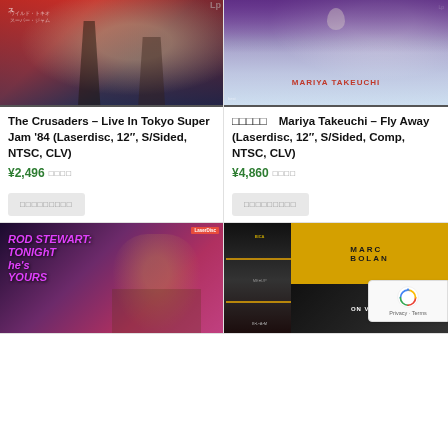[Figure (photo): Album/laserdisc cover of The Crusaders Live In Tokyo Super Jam '84, showing performers on stage with red background]
[Figure (photo): Laserdisc cover of Mariya Takeuchi - Fly Away, with purple gradient and sky background, text 'MARIYA TAKEUCHI' in red]
The Crusaders – Live In Tokyo Super Jam '84 (Laserdisc, 12", S/Sided, NTSC, CLV)
□□□□□ Mariya Takeuchi – Fly Away (Laserdisc, 12", S/Sided, Comp, NTSC, CLV)
¥2,496 □□□□
¥4,860 □□□□
□□□□□□□□□
□□□□□□□□□
[Figure (photo): Laserdisc cover of Rod Stewart: Tonight He's Yours, showing Rod Stewart with wild hair and pink/purple text]
[Figure (photo): Laserdisc cover of Marc Bolan On Video, showing Marc Bolan performing with golden yellow text on dark background]